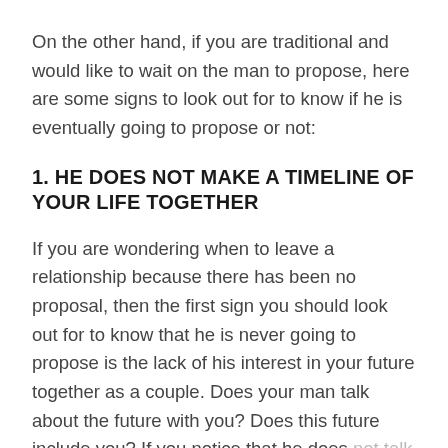On the other hand, if you are traditional and would like to wait on the man to propose, here are some signs to look out for to know if he is eventually going to propose or not:
1. HE DOES NOT MAKE A TIMELINE OF YOUR LIFE TOGETHER
If you are wondering when to leave a relationship because there has been no proposal, then the first sign you should look out for to know that he is never going to propose is the lack of his interest in your future together as a couple. Does your man talk about the future with you? Does this future include you? If you notice that he does not talk about you being in his future, then you should move on from that relationship if